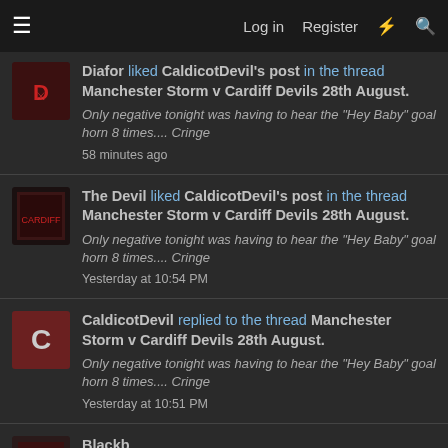≡  Log in  Register  ⚡  🔍
Diafor liked CaldicotDevil's post in the thread Manchester Storm v Cardiff Devils 28th August. Only negative tonight was having to hear the "Hey Baby" goal horn 8 times.... Cringe  58 minutes ago
The Devil liked CaldicotDevil's post in the thread Manchester Storm v Cardiff Devils 28th August. Only negative tonight was having to hear the "Hey Baby" goal horn 8 times.... Cringe  Yesterday at 10:54 PM
CaldicotDevil replied to the thread Manchester Storm v Cardiff Devils 28th August. Only negative tonight was having to hear the "Hey Baby" goal horn 8 times.... Cringe  Yesterday at 10:51 PM
Blackb... (partial, cut off)